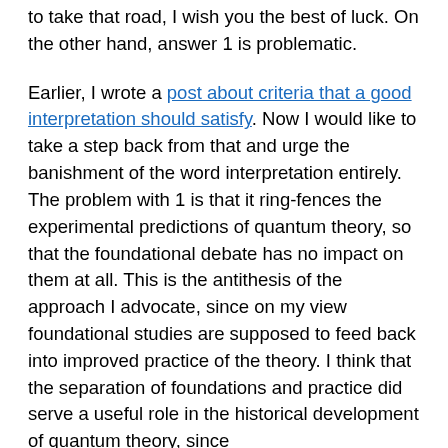to take that road, I wish you the best of luck. On the other hand, answer 1 is problematic.
Earlier, I wrote a post about criteria that a good interpretation should satisfy. Now I would like to take a step back from that and urge the banishment of the word interpretation entirely. The problem with 1 is that it ring-fences the experimental predictions of quantum theory, so that the foundational debate has no impact on them at all. This is the antithesis of the approach I advocate, since on my view foundational studies are supposed to feed back into improved practice of the theory. I think that the separation of foundations and practice did serve a useful role in the historical development of quantum theory, since